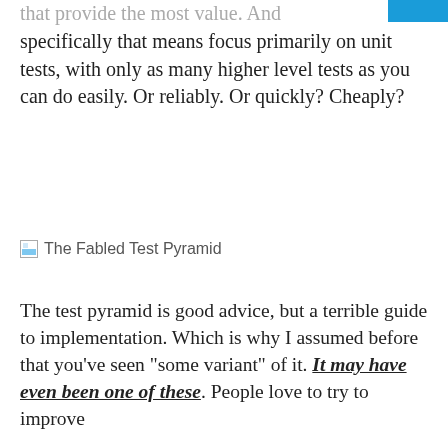that provide the most value. And specifically that means focus primarily on unit tests, with only as many higher level tests as you can do easily. Or reliably. Or quickly? Cheaply?
[Figure (illustration): Broken image placeholder labeled 'The Fabled Test Pyramid']
The Fabled Test Pyramid
The test pyramid is good advice, but a terrible guide to implementation. Which is why I assumed before that you've seen "some variant" of it. It may have even been one of these. People love to try to improve on the pyramid shape, with a number of alternatives, options